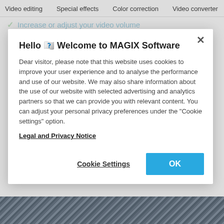Video editing   Special effects   Color correction   Video converter
Increase or adjust your video volume
Dub the audio of your video
Edit the audio track of your video
Hello 🎉 Welcome to MAGIX Software
Dear visitor, please note that this website uses cookies to improve your user experience and to analyse the performance and use of our website. We may also share information about the use of our website with selected advertising and analytics partners so that we can provide you with relevant content. You can adjust your personal privacy preferences under the "Cookie settings" option.
Legal and Privacy Notice
Cookie Settings
OK